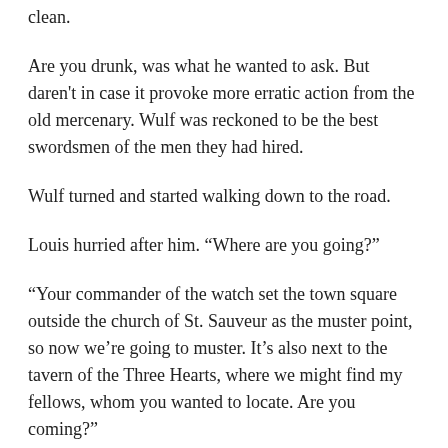clean.
Are you drunk, was what he wanted to ask. But daren't in case it provoke more erratic action from the old mercenary. Wulf was reckoned to be the best swordsmen of the men they had hired.
Wulf turned and started walking down to the road.
Louis hurried after him. “Where are you going?”
“Your commander of the watch set the town square outside the church of St. Sauveur as the muster point, so now we’re going to muster. It’s also next to the tavern of the Three Hearts, where we might find my fellows, whom you wanted to locate. Are you coming?”
Louis looked over his shoulder at the clouds of smoke. “I’m coming,” he said.